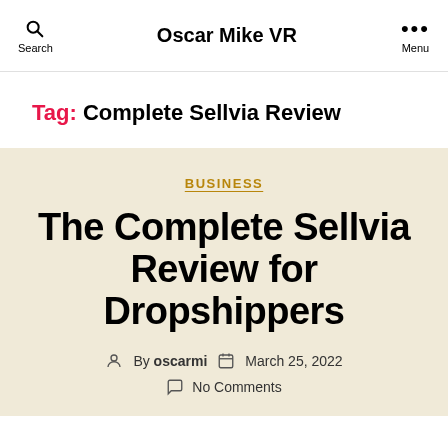Oscar Mike VR — Search | Menu
Tag: Complete Sellvia Review
BUSINESS
The Complete Sellvia Review for Dropshippers
By oscarmi · March 25, 2022 · No Comments